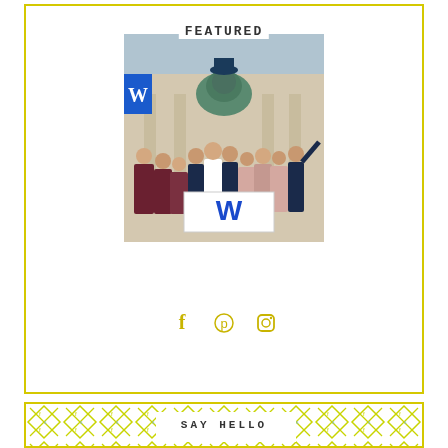FEATURED
[Figure (photo): Wedding party group photo outdoors in front of a building with a large lion statue. The group holds a white banner with a blue W. Bridesmaids in dark red and pink dresses, groomsmen in navy suits.]
[Figure (infographic): Social media icons: Facebook (f), Pinterest (pin), and Instagram (camera) icons in yellow/gold color]
[Figure (infographic): Bottom banner with repeating yellow-green geometric diamond/X pattern background and 'SAY HELLO' text in center on white background]